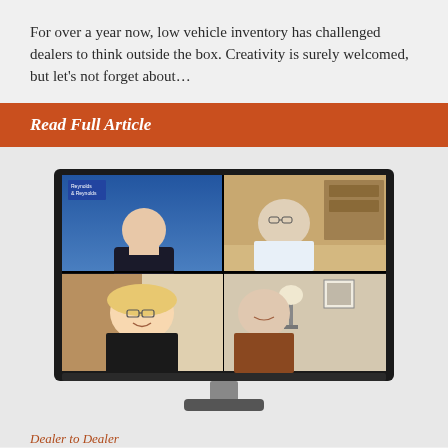For over a year now, low vehicle inventory has challenged dealers to think outside the box. Creativity is surely welcomed, but let's not forget about…
Read Full Article
[Figure (photo): A computer monitor displaying a video call with four participants in a 2x2 grid. Top-left: a man in a suit against a blue background with Reynolds & Reynolds logo. Top-right: a man with glasses in an office setting. Bottom-left: a blonde woman with glasses smiling. Bottom-right: an older man in a brown jacket in a room with a lamp.]
Dealer to Dealer